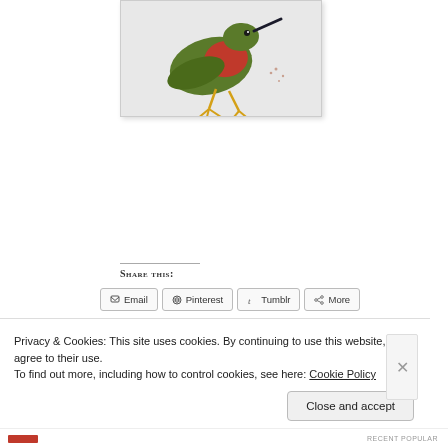[Figure (photo): A colorful bird illustration or drawing showing a bird with green and red plumage and yellow feet/claws, appearing to be feeding or pecking at something, on a light background.]
Share this:
Email | Pinterest | Tumblr | More
Privacy & Cookies: This site uses cookies. By continuing to use this website, you agree to their use. To find out more, including how to control cookies, see here: Cookie Policy
Close and accept